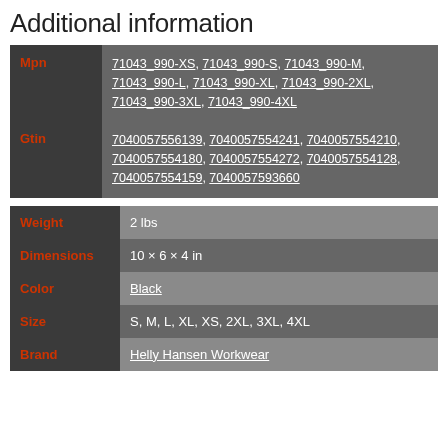Additional information
| Field | Value |
| --- | --- |
| Mpn | 71043_990-XS, 71043_990-S, 71043_990-M, 71043_990-L, 71043_990-XL, 71043_990-2XL, 71043_990-3XL, 71043_990-4XL |
| Gtin | 7040057556139, 7040057554241, 7040057554210, 7040057554180, 7040057554272, 7040057554128, 7040057554159, 7040057593660 |
| Field | Value |
| --- | --- |
| Weight | 2 lbs |
| Dimensions | 10 × 6 × 4 in |
| Color | Black |
| Size | S, M, L, XL, XS, 2XL, 3XL, 4XL |
| Brand | Helly Hansen Workwear |